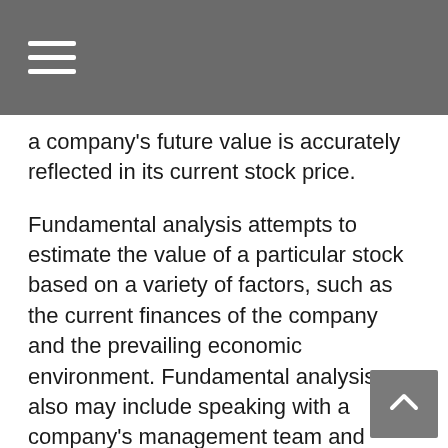a company's future value is accurately reflected in its current stock price.
Fundamental analysis attempts to estimate the value of a particular stock based on a variety of factors, such as the current finances of the company and the prevailing economic environment. Fundamental analysis also may include speaking with a company's management team and assessing how the company's products are received in the marketplace.
When a fundamental review is complete, the analyst may decide the stock is an attractive opportunity because the market has underestimated its future prospects. The analyst also may determine the stock to be a "hold" or a "sell" if the value is fully reflected in the price.